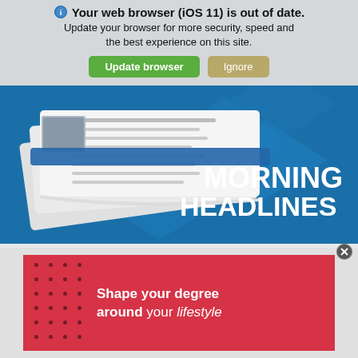[Figure (screenshot): Browser update warning banner with shield icon, text 'Your web browser (iOS 11) is out of date. Update your browser for more security, speed and the best experience on this site.' with green 'Update browser' and tan 'Ignore' buttons]
[Figure (illustration): Morning Headlines news app promotional image: stacked newspapers with blue band on blue geometric background, large white bold text 'MORNING HEADLINES']
[Figure (infographic): Red advertisement banner with dot grid pattern on left side and white text 'Shape your degree around your lifestyle']